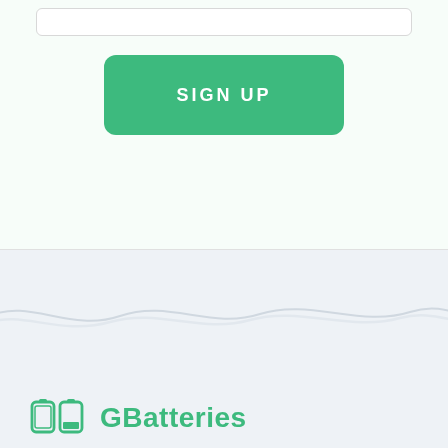[Figure (screenshot): Input field (text box) at top of a sign-up form on a light green-tinted background]
[Figure (screenshot): Green rounded SIGN UP button centered below the input field]
[Figure (illustration): Light blue-grey background section with a wavy decorative line in the middle]
[Figure (logo): GBatteries logo: green battery icon on left, green text 'GBatteries' on right]